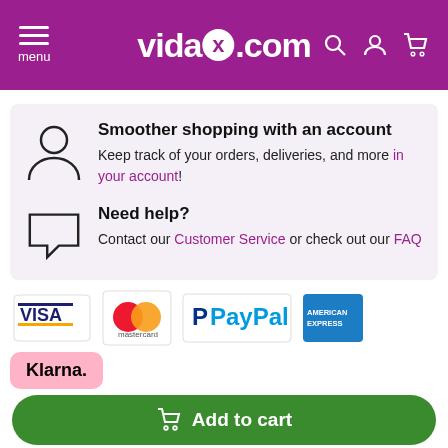vidaXL.com — menu, search, account, cart
Smoother shopping with an account
Keep track of your orders, deliveries, and more in your account!
Need help?
Contact our Customer Service or check out our FAQ
[Figure (logo): Payment logos: VISA, Mastercard, PayPal, American Express, Klarna]
Add to cart
Newsletter